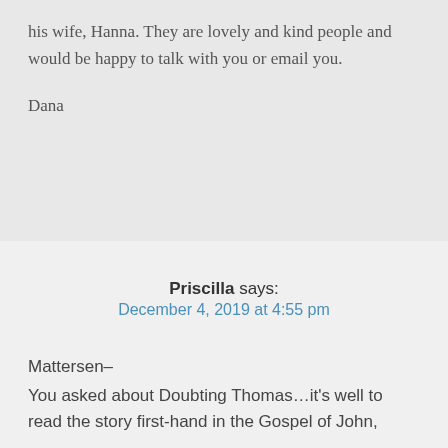his wife, Hanna. They are lovely and kind people and would be happy to talk with you or email you.
Dana
Priscilla says:
December 4, 2019 at 4:55 pm
Mattersen–
You asked about Doubting Thomas…it's well to read the story first-hand in the Gospel of John,